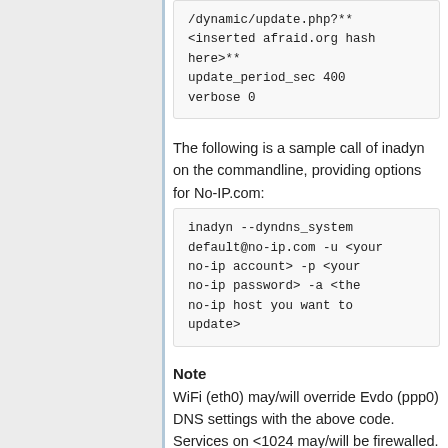/dynamic/update.php?**<inserted afraid.org hash here>**
update_period_sec 400
verbose 0
The following is a sample call of inadyn on the commandline, providing options for No-IP.com:
inadyn --dyndns_system default@no-ip.com -u <your no-ip account> -p <your no-ip password> -a <the no-ip host you want to update>
Note
WiFi (eth0) may/will override Evdo (ppp0) DNS settings with the above code. Services on <1024 may/will be firewalled. However if UPnP is enabled